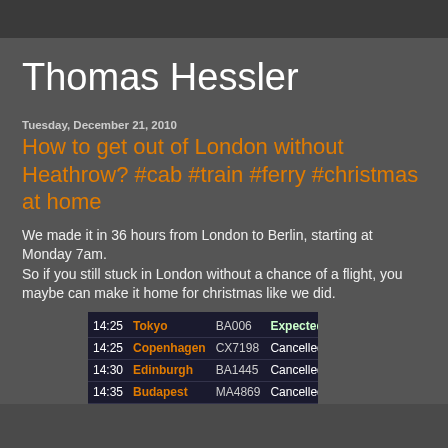Thomas Hessler
Tuesday, December 21, 2010
How to get out of London without Heathrow? #cab #train #ferry #christmas at home
We made it in 36 hours from London to Berlin, starting at Monday 7am.
So if you still stuck in London without a chance of a flight, you maybe can make it home for christmas like we did.
[Figure (screenshot): Airport departure board showing flights: 14:25 Tokyo BA006 Expected 16:07, 14:25 Copenhagen CX7198 Cancelled, 14:30 Edinburgh BA1445 Cancelled, 14:35 Budapest MA4869 Cancelled]